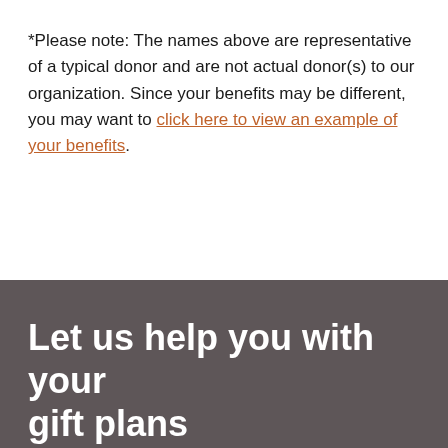*Please note: The names above are representative of a typical donor and are not actual donor(s) to our organization. Since your benefits may be different, you may want to click here to view an example of your benefits.
Let us help you with your gift plans